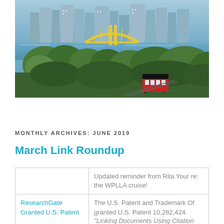[Figure (photo): Aerial photo of Pittsburgh city skyline with rivers, yellow bridge, green trees, and a red trolley/incline car in the foreground]
MONTHLY ARCHIVES: JUNE 2019
March Link Roundup
|  | Updated reminder from Rita Your re: the WPLLA cruise! |
| ResearchGate Granted U.S. Patent | The U.S. Patent and Trademark Of granted U.S. Patent 10,282,424 "Linking Documents Using Citation |